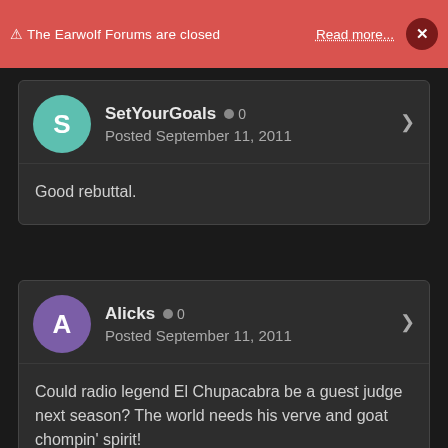⚠ The Earwolf Forums are closed   Read more...   ×
SetYourGoals  ● 0
Posted September 11, 2011
Good rebuttal.
Alicks  ● 0
Posted September 11, 2011
Could radio legend El Chupacabra be a guest judge next season? The world needs his verve and goat chompin' spirit!
Alicks  ● 0
Posted September 11, 2011
Could radio legend El Chupacabra be a guest judge next season? The world needs his verve and goat chompin' spirit!